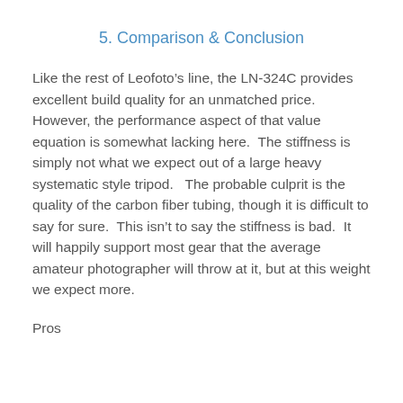5. Comparison & Conclusion
Like the rest of Leofoto’s line, the LN-324C provides excellent build quality for an unmatched price.  However, the performance aspect of that value equation is somewhat lacking here.  The stiffness is simply not what we expect out of a large heavy systematic style tripod.   The probable culprit is the quality of the carbon fiber tubing, though it is difficult to say for sure.  This isn’t to say the stiffness is bad.  It will happily support most gear that the average amateur photographer will throw at it, but at this weight we expect more.
Pros